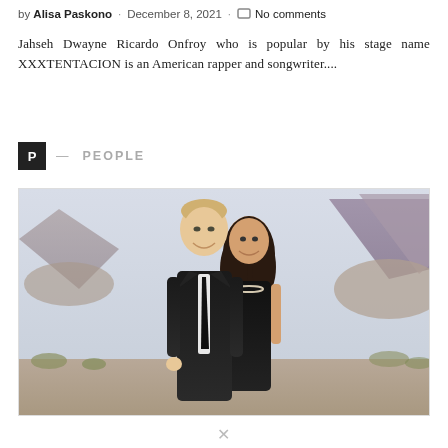by Alisa Paskono · December 8, 2021 · No comments
Jahseh Dwayne Ricardo Onfroy who is popular by his stage name XXXTENTACION is an American rapper and songwriter....
P — PEOPLE
[Figure (photo): A couple posing outdoors in front of rocky desert mountains. The man wears a black suit with a black tie, and the woman wears a black dress with a pearl necklace. Both are smiling.]
X